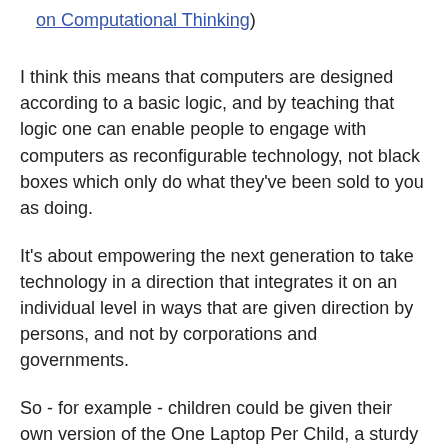on Computational Thinking)
I think this means that computers are designed according to a basic logic, and by teaching that logic one can enable people to engage with computers as reconfigurable technology, not black boxes which only do what they've been sold to you as doing.
It's about empowering the next generation to take technology in a direction that integrates it on an individual level in ways that are given direction by persons, and not by corporations and governments.
So - for example - children could be given their own version of the One Laptop Per Child, a sturdy piece of hardware, with an open source basic platform, and taught how to write their own programs into it. Imagine - they could write programs that help them to learn to read, or do